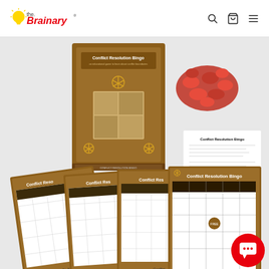The Brainary
[Figure (photo): Product photo of Conflict Resolution Bingo game showing the box, red markers/chips, instruction sheet, and four bingo game boards spread out, each labeled 'Conflict Resolution Bingo' with brown and white design. The bingo boards show different conflict resolution scenarios. Small cards at bottom read: 'How To Avoid Dangerous Conflicts', 'During a Conflict I Can...', 'Conflict Resolution Abilities', 'Resolving Conflicts By...', 'Peer Mediation Strategies'.]